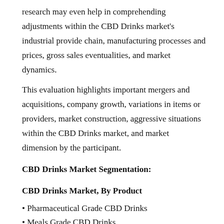research may even help in comprehending adjustments within the CBD Drinks market's industrial provide chain, manufacturing processes and prices, gross sales eventualities, and market dynamics.
This evaluation highlights important mergers and acquisitions, company growth, variations in items or providers, market construction, aggressive situations within the CBD Drinks market, and market dimension by the participant.
CBD Drinks Market Segmentation:
CBD Drinks Market, By Product
Pharmaceutical Grade CBD Drinks
Meals Grade CBD Drinks
CBD Drinks Market, By Utility